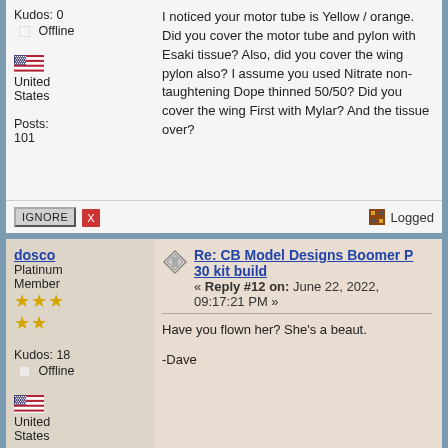Kudos: 0
Offline
United States
Posts: 101
I noticed your motor tube is Yellow / orange. Did you cover the motor tube and pylon with Esaki tissue? Also, did you cover the wing pylon also? I assume you used Nitrate non-taughtening Dope thinned 50/50? Did you cover the wing First with Mylar? And the tissue over?
Logged
dosco
Platinum Member
Kudos: 18
Offline
United States
Posts: 1,315
Re: CB Model Designs Boomer P 30 kit build
« Reply #12 on: June 22, 2022, 09:17:21 PM »
Have you flown her? She's a beaut.
-Dave